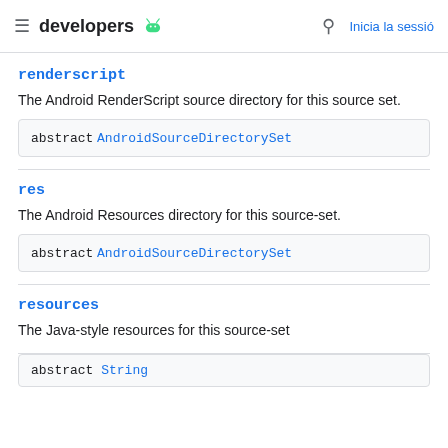developers [android logo] [search] Inicia la sessió
renderscript
The Android RenderScript source directory for this source set.
abstract AndroidSourceDirectorySet
res
The Android Resources directory for this source-set.
abstract AndroidSourceDirectorySet
resources
The Java-style resources for this source-set
abstract String